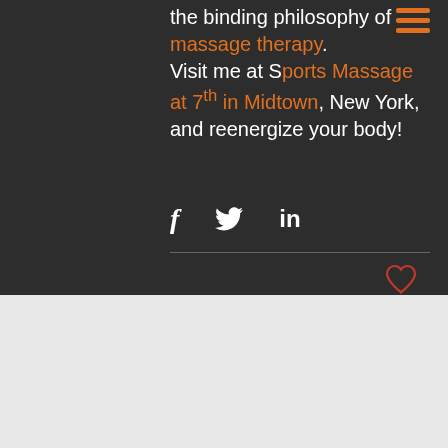the binding philosophy of massage therapy. Visit me at Sports Massage at 7th in Midtown, New York, and reenergize your body!
[Figure (infographic): Social share icons: Facebook (f), Twitter (bird), LinkedIn (in)]
FEATURED POSTS
[Figure (infographic): Up arrow button (dark circle), dots button (blue circle), orange horizontal line separator]